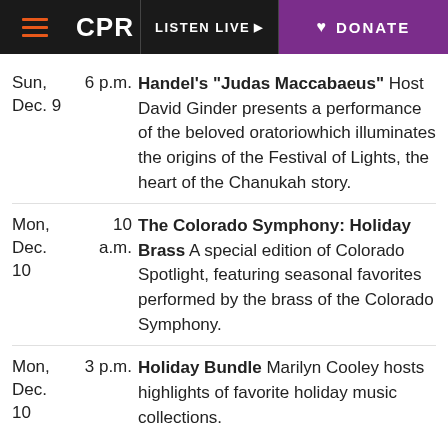CPR | LISTEN LIVE | DONATE
Sun, Dec. 9 | 6 p.m. | Handel's "Judas Maccabaeus" Host David Ginder presents a performance of the beloved oratoriowhich illuminates the origins of the Festival of Lights, the heart of the Chanukah story.
Mon, Dec. 10 | 10 a.m. | The Colorado Symphony: Holiday Brass A special edition of Colorado Spotlight, featuring seasonal favorites performed by the brass of the Colorado Symphony.
Mon, Dec. 10 | 3 p.m. | Holiday Bundle Marilyn Cooley hosts highlights of favorite holiday music collections.